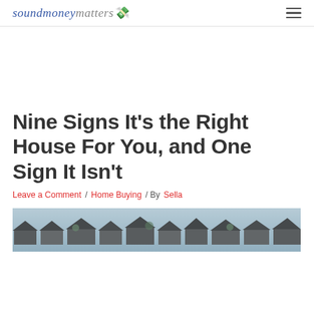soundmoneymatters 💸
Nine Signs It's the Right House For You, and One Sign It Isn't
Leave a Comment / Home Buying / By Sella
[Figure (photo): Aerial view of residential neighborhood houses with dark rooftops]